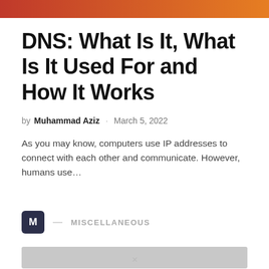[Figure (illustration): Red-to-orange gradient header banner image]
DNS: What Is It, What Is It Used For and How It Works
by Muhammad Aziz · March 5, 2022
As you may know, computers use IP addresses to connect with each other and communicate. However, humans use…
M — MISCELLANEOUS
[Figure (other): Gray loading/placeholder bar]